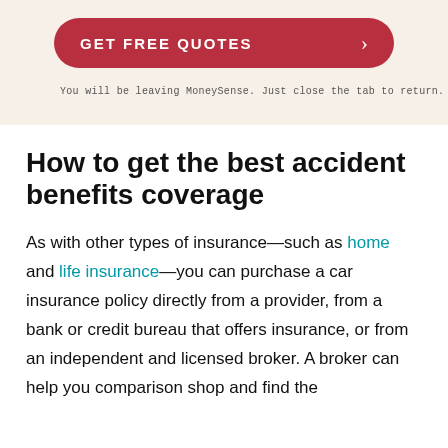[Figure (other): Call-to-action button with red rounded rectangle labeled GET FREE QUOTES with a right arrow chevron, on a beige/cream background]
You will be leaving MoneySense. Just close the tab to return.
How to get the best accident benefits coverage
As with other types of insurance—such as home and life insurance—you can purchase a car insurance policy directly from a provider, from a bank or credit bureau that offers insurance, or from an independent and licensed broker. A broker can help you comparison shop and find the